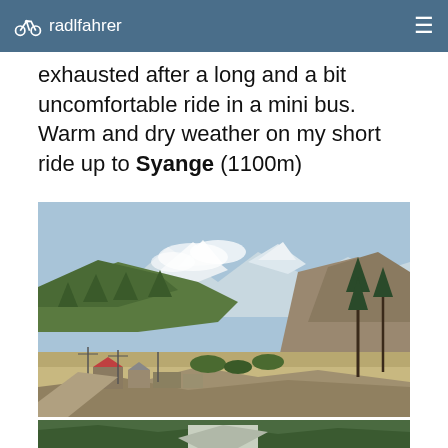radlfahrer
exhausted after a long and a bit uncomfortable ride in a mini bus. Warm and dry weather on my short ride up to Syange (1100m)
[Figure (photo): Mountain valley landscape showing snow-capped peaks in the background, forested hillsides, small village buildings with red roofs in the foreground, rocky terrain, and utility poles along a road.]
[Figure (photo): Partial view of another outdoor mountain/forest scene, cropped at bottom of page.]